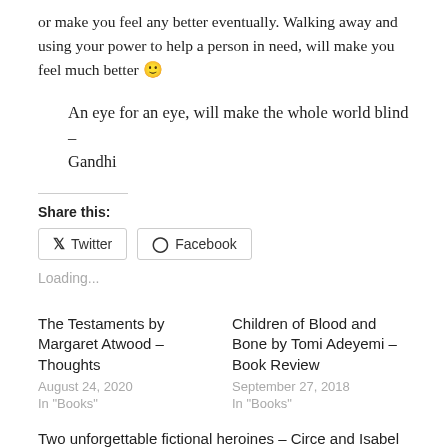or make you feel any better eventually. Walking away and using your power to help a person in need, will make you feel much better 🙂
An eye for an eye, will make the whole world blind – Gandhi
Share this:
Twitter  Facebook
Loading...
The Testaments by Margaret Atwood – Thoughts
August 24, 2020
In "Books"
Children of Blood and Bone by Tomi Adeyemi – Book Review
September 27, 2018
In "Books"
Two unforgettable fictional heroines – Circe and Isabel